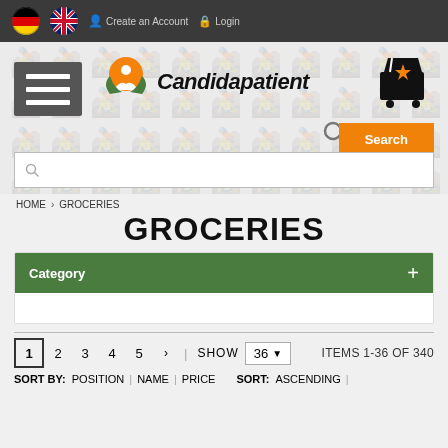Create an Account  Login
[Figure (logo): Candidapatient logo with orange and green leaf icon and cursive text]
Search
HOME > GROCERIES
GROCERIES
Category +
1  2  3  4  5  >  |  SHOW  36  ITEMS 1-36 OF 340
SORT BY: POSITION | NAME | PRICE   SORT: ASCENDING |